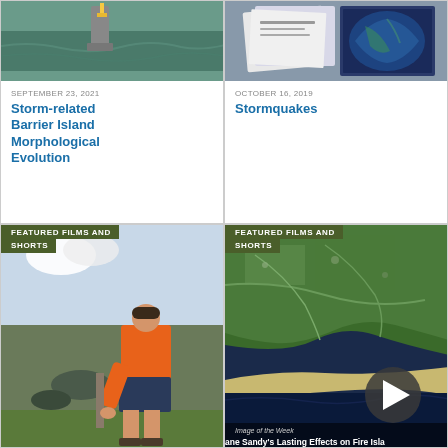[Figure (photo): Photo of scientific equipment on water/boat]
SEPTEMBER 23, 2021
Storm-related Barrier Island Morphological Evolution
[Figure (photo): Photo of documents or papers with satellite imagery]
OCTOBER 16, 2019
Stormquakes
FEATURED FILMS AND SHORTS
[Figure (photo): Person in orange shirt working outdoors near rocks and water]
FEATURED FILMS AND SHORTS
[Figure (photo): Satellite image of coastline with text: Image of the Week - Hurricane Sandy's Lasting Effects on Fire Island]